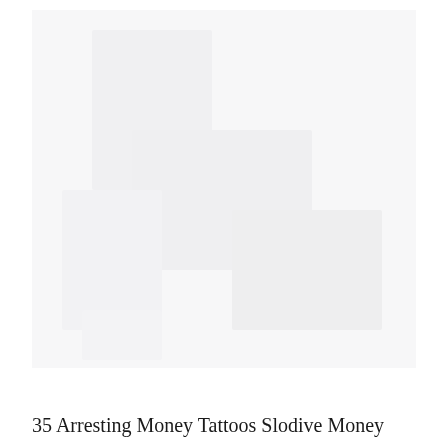[Figure (photo): A nearly blank/white page with very faint, barely visible imagery — appears to be a nearly blank scanned page with light gray tones.]
35 Arresting Money Tattoos Slodive Money